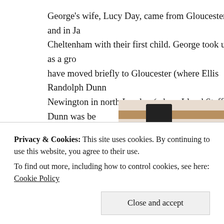George's wife, Lucy Day, came from Gloucestershire and in Ja... Cheltenham with their first child. George took up work as a gro... have moved briefly to Gloucester (where Ellis Randolph Dunn ... Newington in north London (where Lloyd Stafford Dunn was be... settled at 140 High Street, Shoreditch (now The Golden Horn / ... London, around 1887, that George Arthur Dunn started his own... open branch shops.
[Figure (photo): Close-up photo of what appears to be a wooden door or panel with decorative moulding strips, and a black electrical device or switch mounted on it with a cable.]
Privacy & Cookies: This site uses cookies. By continuing to use this website, you agree to their use.
To find out more, including how to control cookies, see here: Cookie Policy